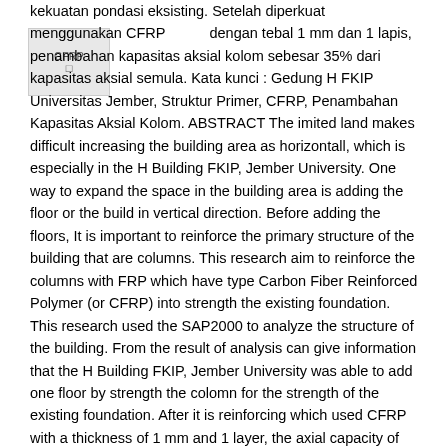[Figure (other): Small image placeholder with label 'CFRP' and a symbol, positioned top-left corner]
kekuatan pondasi eksisting. Setelah diperkuat menggunakan CFRP dengan tebal 1 mm dan 1 lapis, penambahan kapasitas aksial kolom sebesar 35% dari kapasitas aksial semula. Kata kunci : Gedung H FKIP Universitas Jember, Struktur Primer, CFRP, Penambahan Kapasitas Aksial Kolom. ABSTRACT The imited land makes difficult increasing the building area as horizontall, which is especially in the H Building FKIP, Jember University. One way to expand the space in the building area is adding the floor or the build in vertical direction. Before adding the floors, It is important to reinforce the primary structure of the building that are columns. This research aim to reinforce the columns with FRP which have type Carbon Fiber Reinforced Polymer (or CFRP) into strength the existing foundation. This research used the SAP2000 to analyze the structure of the building. From the result of analysis can give information that the H Building FKIP, Jember University was able to add one floor by strength the colomn for the strength of the existing foundation. After it is reinforcing which used CFRP with a thickness of 1 mm and 1 layer, the axial capacity of the clolumn was increased to 35 % from the original axial capacity. Keywords : the H Building FKIP, Jember University,